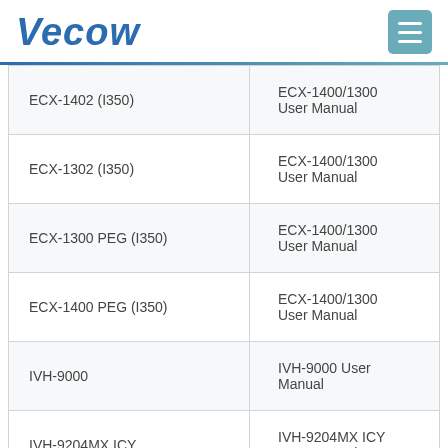[Figure (logo): Vecow company logo in blue italic bold text with a teal menu button icon on the right]
| Model | Manual |
| --- | --- |
| ECX-1402 (I350) | ECX-1400/1300 User Manual |
| ECX-1302 (I350) | ECX-1400/1300 User Manual |
| ECX-1300 PEG (I350) | ECX-1400/1300 User Manual |
| ECX-1400 PEG (I350) | ECX-1400/1300 User Manual |
| IVH-9000 | IVH-9000 User Manual |
| IVH-9204MX ICY | IVH-9204MX ICY User Manual |
| IVH-9204MX ICY | IVH-9204MX ICY User Manual |